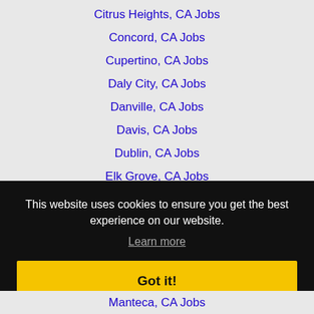Citrus Heights, CA Jobs
Concord, CA Jobs
Cupertino, CA Jobs
Daly City, CA Jobs
Danville, CA Jobs
Davis, CA Jobs
Dublin, CA Jobs
Elk Grove, CA Jobs
Fairfield, CA Jobs
This website uses cookies to ensure you get the best experience on our website.
Learn more
Got it!
Manteca, CA Jobs